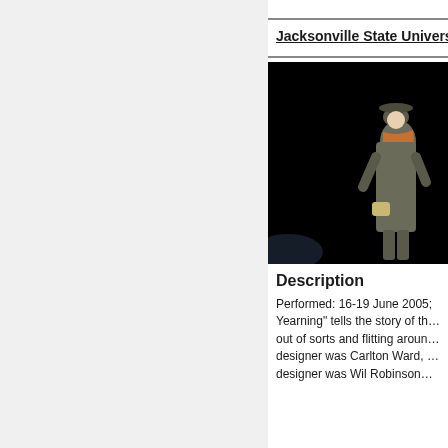Jacksonville State Univers…
[Figure (photo): A performer on stage wearing a long coat, hat, and orange scarf, holding a small bag, against a dark background.]
Description
Performed: 16-19 June 2005; Yearning" tells the story of th… out of sorts and flitting aroun… designer was Carlton Ward, … designer was Wil Robinson…